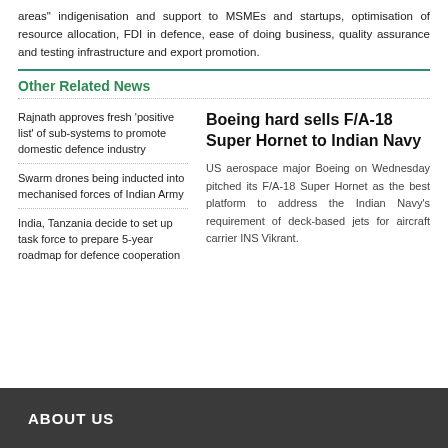areas" indigenisation and support to MSMEs and startups, optimisation of resource allocation, FDI in defence, ease of doing business, quality assurance and testing infrastructure and export promotion.
Other Related News
Rajnath approves fresh 'positive list' of sub-systems to promote domestic defence industry
Swarm drones being inducted into mechanised forces of Indian Army
India, Tanzania decide to set up task force to prepare 5-year roadmap for defence cooperation
Boeing hard sells F/A-18 Super Hornet to Indian Navy
US aerospace major Boeing on Wednesday pitched its F/A-18 Super Hornet as the best platform to address the Indian Navy's requirement of deck-based jets for aircraft carrier INS Vikrant.
ABOUT US